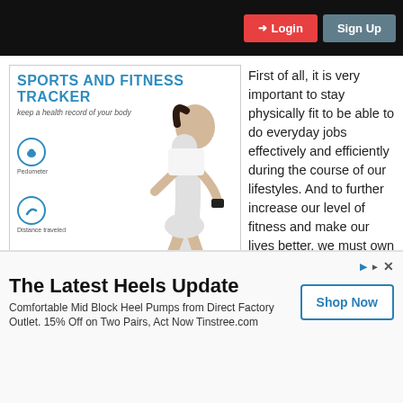Login  Sign Up
[Figure (illustration): Sports and Fitness Tracker product image showing a woman running with fitness tracker icons for Pedometer, Distance traveled, and Calories burned on the left side.]
First of all, it is very important to stay physically fit to be able to do everyday jobs effectively and efficiently during the course of our lifestyles. And to further increase our level of fitness and make our lives better, we must own a fitness tracker that keeps a track of how healthy and fit our body is at a point of time.
[Figure (infographic): Advertisement: The Latest Heels Update. Comfortable Mid Block Heel Pumps from Direct Factory Outlet. 15% Off on Two Pairs, Act Now Tinstree.com. Shop Now button.]